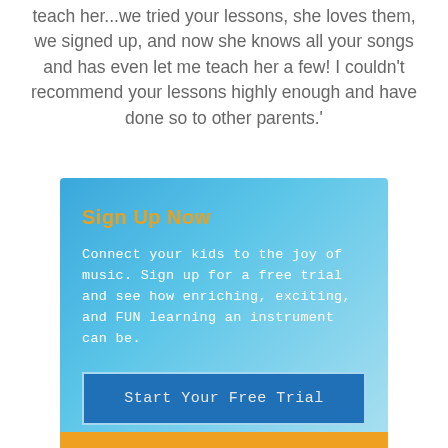teach her...we tried your lessons, she loves them, we signed up, and now she knows all your songs and has even let me teach her a few! I couldn't recommend your lessons highly enough and have done so to other parents.'
Sign Up Now
Connect your kids to the joy of music. Sign up for a free trial and see how enriching, exciting, and FUN learning an instrument can be.
Start Your Free Trial